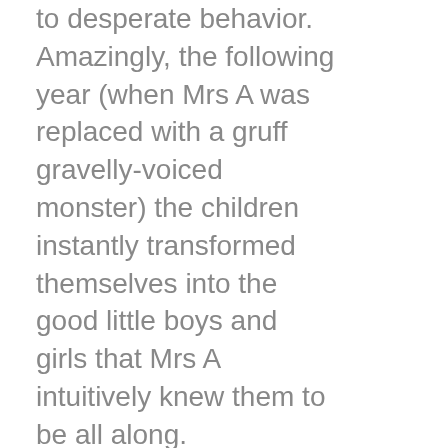to desperate behavior. Amazingly, the following year (when Mrs A was replaced with a gruff gravelly-voiced monster) the children instantly transformed themselves into the good little boys and girls that Mrs A intuitively knew them to be all along.

On a small scale (as in the cottling of miscreants in a grade school) with great effort the damage these fools do can be rectified,